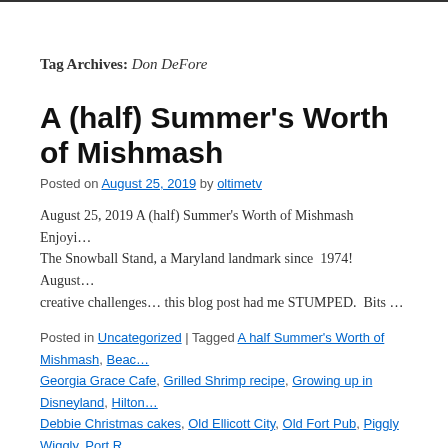Tag Archives: Don DeFore
A (half) Summer's Worth of Mishmash
Posted on August 25, 2019 by oltimetv
August 25, 2019 A (half) Summer's Worth of Mishmash Enjoyi… The Snowball Stand, a Maryland landmark since 1974! August… creative challenges… this blog post had me STUMPED. Bits …
Posted in Uncategorized | Tagged A half Summer's Worth of Mishmash, Beac… Georgia Grace Cafe, Grilled Shrimp recipe, Growing up in Disneyland, Hilton… Debbie Christmas cakes, Old Ellicott City, Old Fort Pub, Piggly Wiggly, Port R… Creek Boathouse, starburst clock, sunsets, The Frosty Frog, The Snowball S…
Growing Up in Disneyland: a Conversatio… DeFore
Posted on July 13, 2019 by oltimetv